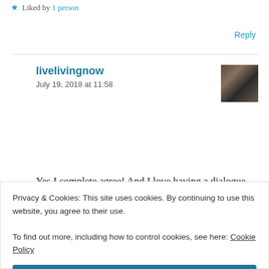★ Liked by 1 person
Reply
livelivingnow
July 19, 2018 at 11:58
[Figure (photo): Avatar/profile photo of commenter livelivingnow]
Yes I complete agree! And I love having a dialogue and talking. So thank you for taking the time. With regards to SEO, that is my next hurdle- or challenge.
Privacy & Cookies: This site uses cookies. By continuing to use this website, you agree to their use.
To find out more, including how to control cookies, see here: Cookie Policy
Close and accept